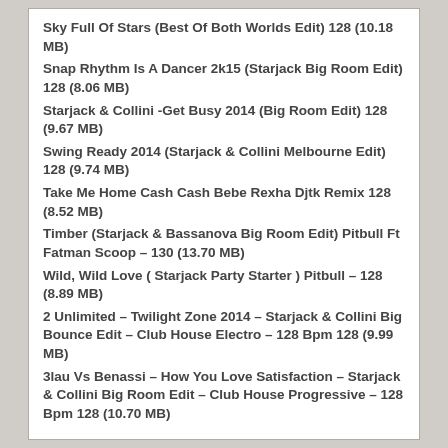Sky Full Of Stars (Best Of Both Worlds Edit) 128 (10.18 MB)
Snap Rhythm Is A Dancer 2k15 (Starjack Big Room Edit) 128 (8.06 MB)
Starjack & Collini -Get Busy 2014 (Big Room Edit) 128 (9.67 MB)
Swing Ready 2014 (Starjack & Collini Melbourne Edit) 128 (9.74 MB)
Take Me Home Cash Cash Bebe Rexha Djtk Remix 128 (8.52 MB)
Timber (Starjack & Bassanova Big Room Edit) Pitbull Ft Fatman Scoop – 130 (13.70 MB)
Wild, Wild Love ( Starjack Party Starter ) Pitbull – 128 (8.89 MB)
2 Unlimited – Twilight Zone 2014 – Starjack & Collini Big Bounce Edit – Club House Electro – 128 Bpm 128 (9.99 MB)
3lau Vs Benassi – How You Love Satisfaction – Starjack & Collini Big Room Edit – Club House Progressive – 128 Bpm 128 (10.70 MB)